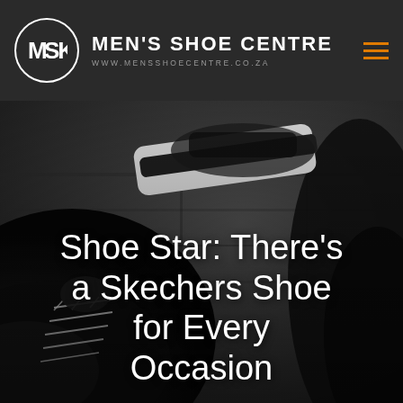MEN'S SHOE CENTRE — www.mensshoecentre.co.za
[Figure (photo): Black and white close-up photograph of men's shoes from above, showing a dark canvas sneaker with white laces on the left and other shoes in the background]
Shoe Star: There's a Skechers Shoe for Every Occasion